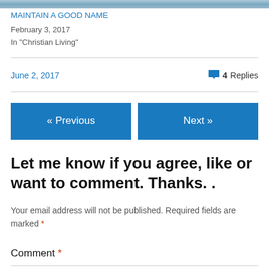[Figure (photo): Partial top edge of a nature/landscape photo, cropped]
MAINTAIN A GOOD NAME
February 3, 2017
In "Christian Living"
June 2, 2017
💬 4 Replies
« Previous
Next »
Let me know if you agree, like or want to comment. Thanks. .
Your email address will not be published. Required fields are marked *
Comment *